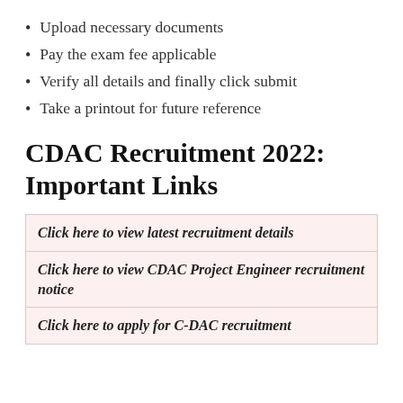Upload necessary documents
Pay the exam fee applicable
Verify all details and finally click submit
Take a printout for future reference
CDAC Recruitment 2022: Important Links
| Click here to view latest recruitment details |
| Click here to view CDAC Project Engineer recruitment notice |
| Click here to apply for C-DAC recruitment |